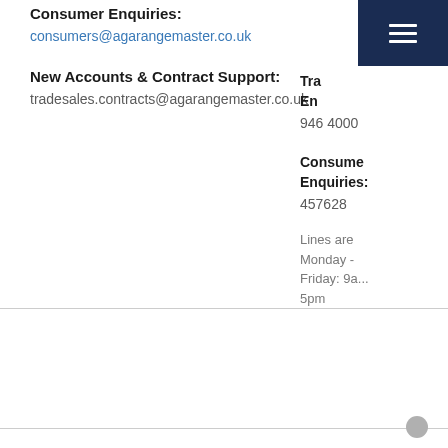Consumer Enquiries:
consumers@agarangemaster.co.uk
New Accounts & Contract Support:
tradesales.contracts@agarangemaster.co.uk
Trade Enquiries:
946 4000
Consumer Enquiries:
457628
Lines are Monday - Friday: 9a... 5pm